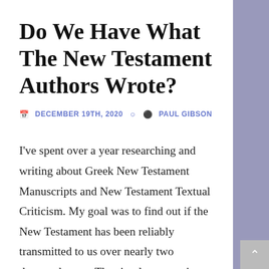Do We Have What The New Testament Authors Wrote?
DECEMBER 19TH, 2020  PAUL GIBSON
I've spent over a year researching and writing about Greek New Testament Manuscripts and New Testament Textual Criticism. My goal was to find out if the New Testament has been reliably transmitted to us over nearly two thousand years. The simple answer is: yes!